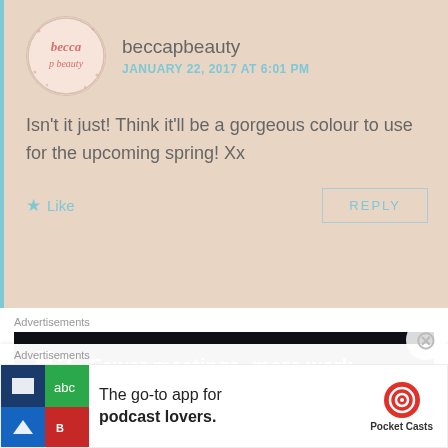[Figure (illustration): Circular avatar logo for beccapbeauty blog — pink handwritten text on light pink background with dots]
beccapbeauty
JANUARY 22, 2017 AT 6:01 PM
Isn't it just! Think it'll be a gorgeous colour to use for the upcoming spring! Xx
★ Like
REPLY
Advertisements
[Figure (logo): P2 logo (two white squares and number 2) followed by tagline 'Fewer meetings, more work.' on dark background]
REPORT THIS AD
Absolutely Olivia 💙
Advertisements
[Figure (illustration): Pocket Casts app advertisement showing colorful app icon tiles and Pocket Casts logo with tagline 'The go-to app for podcast lovers.']